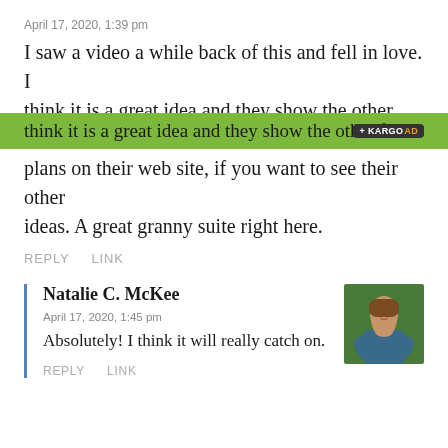April 17, 2020, 1:39 pm
I saw a video a while back of this and fell in love. I think it is a great idea and they show the other floor plans on their web site, if you want to see their other ideas. A great granny suite right here.
REPLY   LINK
Natalie C. McKee
April 17, 2020, 1:45 pm
Absolutely! I think it will really catch on.
REPLY   LINK